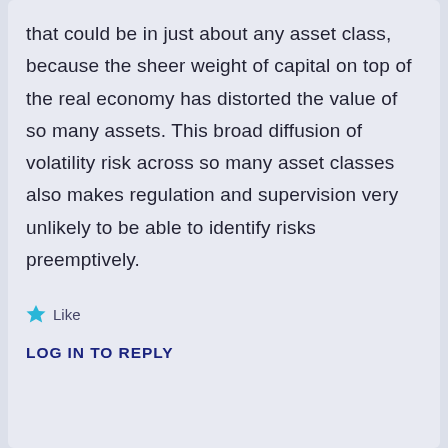that could be in just about any asset class, because the sheer weight of capital on top of the real economy has distorted the value of so many assets. This broad diffusion of volatility risk across so many asset classes also makes regulation and supervision very unlikely to be able to identify risks preemptively.
Like
LOG IN TO REPLY